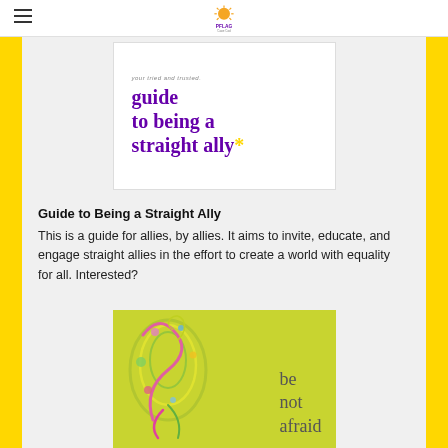PFLAG [logo] navigation header
[Figure (illustration): Book cover for 'your tried and trusted guide to being a straight ally*' with purple text on white background]
Guide to Being a Straight Ally
This is a guide for allies, by allies. It aims to invite, educate, and engage straight allies in the effort to create a world with equality for all. Interested?
[Figure (illustration): Book cover with lime green background, colorful swirl design, and text 'be not afraid']